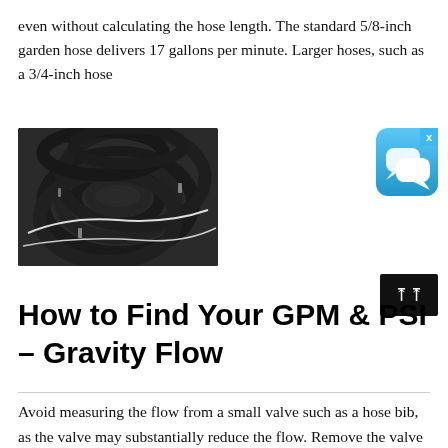even without calculating the hose length. The standard 5/8-inch garden hose delivers 17 gallons per minute. Larger hoses, such as a 3/4-inch hose
[Figure (photo): Coiled black rubber garden hoses stacked together]
[Figure (other): Blue chat/messaging app icon with white speech bubbles and an X close button]
[Figure (other): Black scroll-to-top button with double chevron (up arrow) icon]
How to Find Your GPM & PSI – Gravity Flow
Avoid measuring the flow from a small valve such as a hose bib, as the valve may substantially reduce the flow. Remove the valve and measure the full flow from